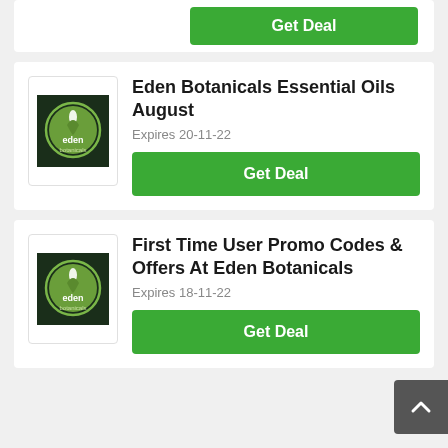[Figure (logo): Partial top card with Get Deal green button]
Eden Botanicals Essential Oils August
Expires 20-11-22
[Figure (logo): Eden Botanicals logo - circular green emblem on dark background]
Get Deal
First Time User Promo Codes & Offers At Eden Botanicals
Expires 18-11-22
[Figure (logo): Eden Botanicals logo - circular green emblem on dark background]
Get Deal